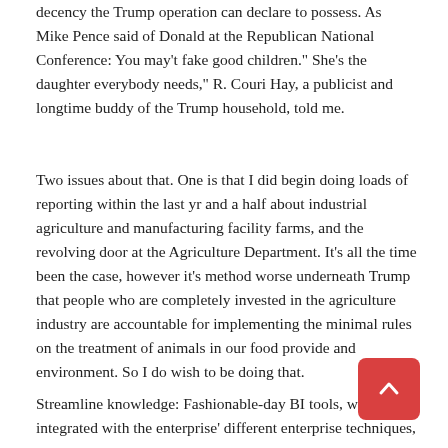decency the Trump operation can declare to possess. As Mike Pence said of Donald at the Republican National Conference: You may't fake good children." She's the daughter everybody needs," R. Couri Hay, a publicist and longtime buddy of the Trump household, told me.
Two issues about that. One is that I did begin doing loads of reporting within the last yr and a half about industrial agriculture and manufacturing facility farms, and the revolving door at the Agriculture Department. It's all the time been the case, however it's method worse underneath Trump that people who are completely invested in the agriculture industry are accountable for implementing the minimal rules on the treatment of animals in our food provide and environment. So I do wish to be doing that.
Streamline knowledge: Fashionable-day BI tools, when integrated with the enterprise' different enterprise techniques,